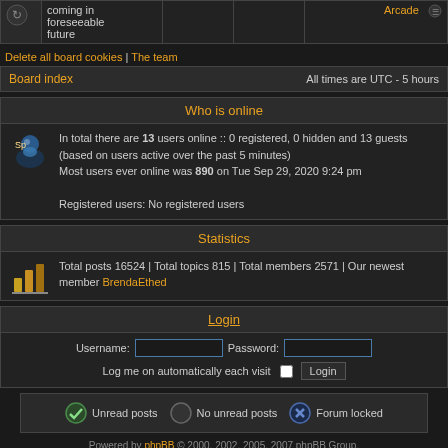|  | coming in foreseeable future |  |  | Arcade |
| --- | --- | --- | --- | --- |
Delete all board cookies | The team
Board index  All times are UTC - 5 hours
Who is online
In total there are 13 users online :: 0 registered, 0 hidden and 13 guests (based on users active over the past 5 minutes)
Most users ever online was 890 on Tue Sep 29, 2020 9:24 pm

Registered users: No registered users
Statistics
Total posts 16524 | Total topics 815 | Total members 2571 | Our newest member BrendaEthed
Login
Username: [input] Password: [input] Log me on automatically each visit [checkbox] Login
Unread posts  No unread posts  Forum locked
Powered by phpBB © 2000, 2002, 2005, 2007 phpBB Group. Designed by STSoftware for PTF.